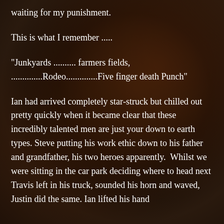waiting for my punishment.
This is what I remember .....
“Junkyards .......... farmers fields, ..............Rodeo..............Five finger death Punch”
Ian had arrived completely star-struck but chilled out pretty quickly when it became clear that these incredibly talented men are just your down to earth types. Steve putting his work ethic down to his father and grandfather, his two heroes apparently.  Whilst we were sitting in the car park deciding where to head next Travis left in his truck, sounded his horn and waved, Justin did the same. Ian lifted his hand